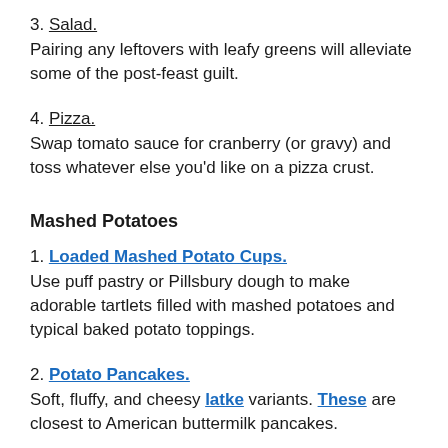3. Salad.
Pairing any leftovers with leafy greens will alleviate some of the post-feast guilt.
4. Pizza.
Swap tomato sauce for cranberry (or gravy) and toss whatever else you'd like on a pizza crust.
Mashed Potatoes
1. Loaded Mashed Potato Cups.
Use puff pastry or Pillsbury dough to make adorable tartlets filled with mashed potatoes and typical baked potato toppings.
2. Potato Pancakes.
Soft, fluffy, and cheesy latke variants. These are closest to American buttermilk pancakes.